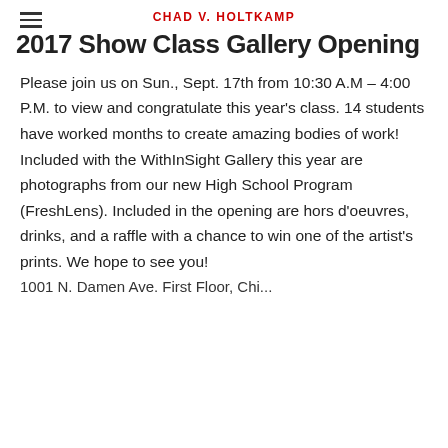CHAD V. HOLTKAMP
2017 Show Class Gallery Opening
Please join us on Sun., Sept. 17th from 10:30 A.M – 4:00 P.M. to view and congratulate this year's class. 14 students have worked months to create amazing bodies of work! Included with the WithInSight Gallery this year are photographs from our new High School Program (FreshLens). Included in the opening are hors d'oeuvres, drinks, and a raffle with a chance to win one of the artist's prints. We hope to see you!
1001 N. Damen Ave. First Floor, Chi...